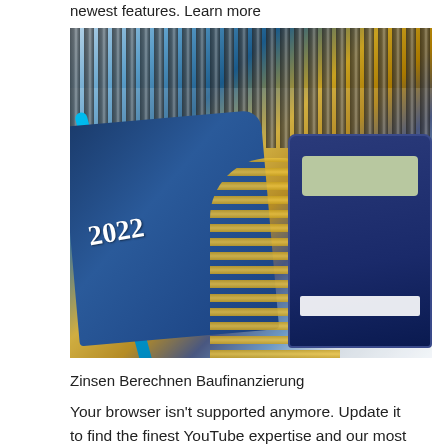newest features. Learn more
[Figure (photo): A 2022 navy blue diary/planner with gold text, a cyan pen, spiral-bound notebooks with black and gold coils, and a blue calculator arranged on a white surface.]
Zinsen Berechnen Baufinanzierung
Your browser isn't supported anymore. Update it to find the finest YouTube expertise and our most